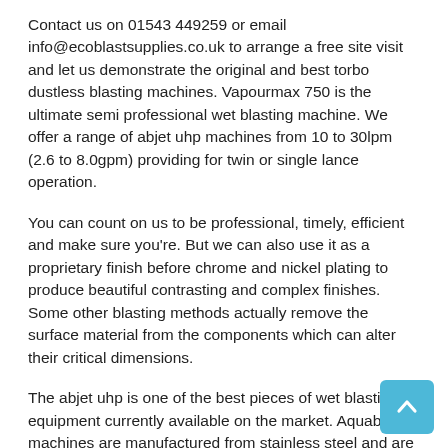Contact us on 01543 449259 or email info@ecoblastsupplies.co.uk to arrange a free site visit and let us demonstrate the original and best torbo dustless blasting machines. Vapourmax 750 is the ultimate semi professional wet blasting machine. We offer a range of abjet uhp machines from 10 to 30lpm (2.6 to 8.0gpm) providing for twin or single lance operation.
You can count on us to be professional, timely, efficient and make sure you're. But we can also use it as a proprietary finish before chrome and nickel plating to produce beautiful contrasting and complex finishes. Some other blasting methods actually remove the surface material from the components which can alter their critical dimensions.
The abjet uhp is one of the best pieces of wet blasting equipment currently available on the market. Aquablast® machines are manufactured from stainless steel and are available in three. Large work area with a.
Once the item is secured within the blasting cabinet, our machine uses compressed air to blast the item's surface with a mixture of